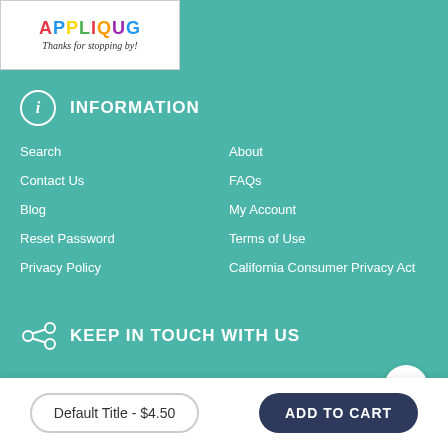[Figure (logo): Applique logo with colorful lettering and 'Thanks for stopping by!' tagline]
INFORMATION
Search
About
Contact Us
FAQs
Blog
My Account
Reset Password
Terms of Use
Privacy Policy
California Consumer Privacy Act
KEEP IN TOUCH WITH US
Facebook
Default Title - $4.50
ADD TO CART